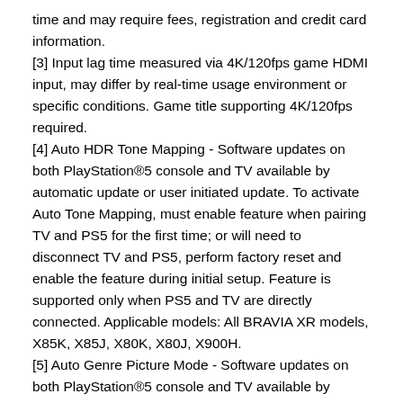time and may require fees, registration and credit card information.
[3] Input lag time measured via 4K/120fps game HDMI input, may differ by real-time usage environment or specific conditions. Game title supporting 4K/120fps required.
[4] Auto HDR Tone Mapping - Software updates on both PlayStation®5 console and TV available by automatic update or user initiated update. To activate Auto Tone Mapping, must enable feature when pairing TV and PS5 for the first time; or will need to disconnect TV and PS5, perform factory reset and enable the feature during initial setup. Feature is supported only when PS5 and TV are directly connected. Applicable models: All BRAVIA XR models, X85K, X85J, X80K, X80J, X900H.
[5] Auto Genre Picture Mode - Software updates on both PlayStation®5 console and TV available by automatic update or user initiated update. This function works when Auto Picture Mode on the TV is set to ON and is supported only when PS5 and TV are directly connected. Applicable models: All BRAVIA XR models, X85K, X85J, X80K, X80J, X900H.
[6] Other than video chat, other BRAVIA CAM features available via